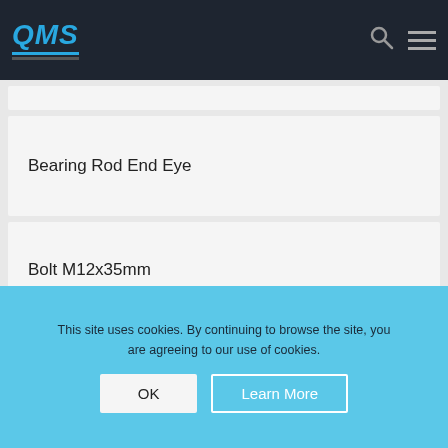QMS
Bearing Rod End Eye
Bolt M12x35mm
This site uses cookies. By continuing to browse the site, you are agreeing to our use of cookies.
OK
Learn More